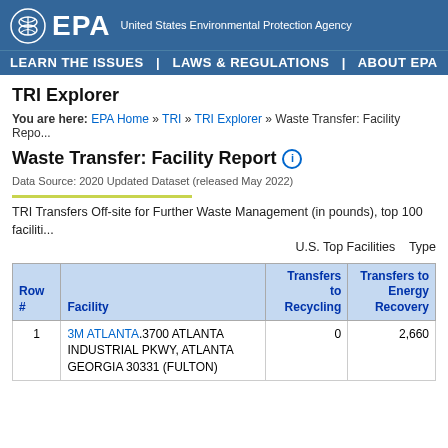[Figure (logo): EPA logo with eagle symbol and 'EPA' text, with subtitle 'United States Environmental Protection Agency' on blue background]
LEARN THE ISSUES  |  LAWS & REGULATIONS  |  ABOUT EPA
TRI Explorer
You are here: EPA Home » TRI » TRI Explorer » Waste Transfer: Facility Repo...
Waste Transfer: Facility Report
Data Source: 2020 Updated Dataset (released May 2022)
TRI Transfers Off-site for Further Waste Management (in pounds), top 100 faciliti... U.S. Top Facilities   Type
| Row # | Facility | Transfers to Recycling | Transfers to Energy Recovery |
| --- | --- | --- | --- |
| 1 | 3M ATLANTA.3700 ATLANTA INDUSTRIAL PKWY, ATLANTA GEORGIA 30331 (FULTON) | 0 | 2,660 |